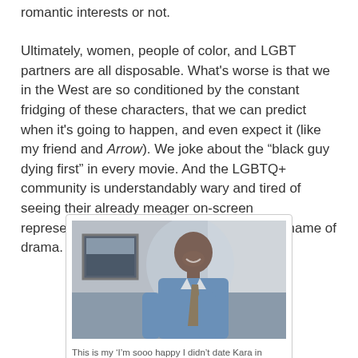romantic interests or not.
Ultimately, women, people of color, and LGBT partners are all disposable. What's worse is that we in the West are so conditioned by the constant fridging of these characters, that we can predict when it's going to happen, and even expect it (like my friend and Arrow). We joke about the "black guy dying first" in every movie. And the LGBTQ+ community is understandably wary and tired of seeing their already meager on-screen representation thinned out even more in the name of drama.
[Figure (photo): A smiling bald Black man in a blue shirt and grey tie, standing in an office or modern interior setting with a framed artwork on the wall behind him.]
This is my 'I'm sooo happy I didn't date Kara in season 2' face....